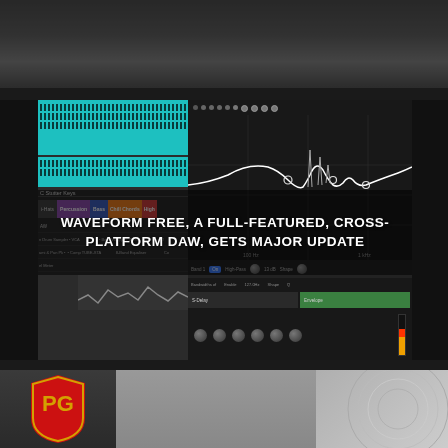[Figure (screenshot): Partially visible screenshot at the top of the page, showing a blurred/cropped view of a software interface or banner]
[Figure (screenshot): Screenshot of Waveform Free DAW (Digital Audio Workstation) showing a sequencer/arranger on the left with colored track headers (Hi-Hats, Percussion, Bass, Chill Chords, High) and a parametric EQ plugin panel on the right with frequency response curve]
WAVEFORM FREE, A FULL-FEATURED, CROSS-PLATFORM DAW, GETS MAJOR UPDATE
[Figure (photo): Bottom card showing a PG (Premier Guitar) magazine logo badge in red with gold guitar pick shape on left, and a blurred photo of a grey-haired man on the right with a decorative circular pattern in background]